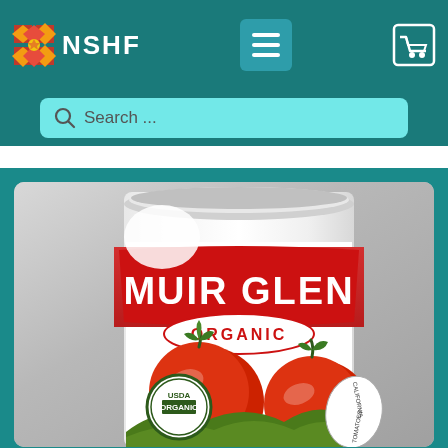NSHF
Search ...
[Figure (photo): A can of Muir Glen Organic tomatoes with red and white label showing USDA Organic seal and California tomatoes imagery, photographed against a metallic/stainless steel background.]